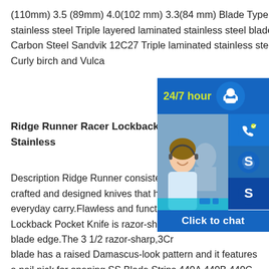(110mm) 3.5 (89mm) 4.0(102 mm) 3.3(84 mm) Blade Type Triple laminated stainless steel Triple layered laminated stainless steel blade Triple Laminated Carbon Steel Sandvik 12C27 Triple laminated stainless steel Handle Material Curly birch and Vulca
Ridge Runner Racer Lockback Pock Stainless
Description Ridge Runner consistently crafted and designed knives that have everyday carry.Flawless and functiona Lockback Pocket Knife is razor-sharp i blade edge.The 3 1/2 razor-sharp,3Cr blade has a raised Damascus-look pattern and it features a nail nick for opening.SS Blade Strips 440A 440B 440C - stainless steel sheet 440a Stainless Steel Sheet,Strip In Flat - Buy 440a .440a Stainless Steel Sheet,Strip In most display-only and replica swords or knives are made of 440A stainless.Also known as razor blade
[Figure (other): Customer service chat widget overlay showing '24/7 hour' text in yellow-green on blue background, a headset user icon, a photo of a smiling customer service representative, phone/Skype icons in blue squares, and a 'Click to chat' button bar.]